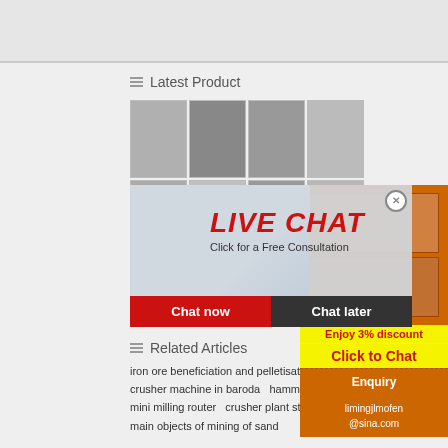[Figure (screenshot): Top gray banner area of website]
Latest Product
[Figure (photo): Grid of industrial machinery product photos]
[Figure (screenshot): Live Chat popup overlay with workers in hard hats. Title: LIVE CHAT. Subtitle: Click for a Free Consultation. Buttons: Chat now, Chat later]
[Figure (infographic): Orange sidebar with crusher machine images, Enjoy 3% discount, Click to Chat, Enquiry, limingjlmofen@sina.com]
Related Articles
iron ore beneficiation and pelletisation process
crusher machine in baroda   hammer mill kar
mini milling router   crusher plant states
main objects of mining of sand